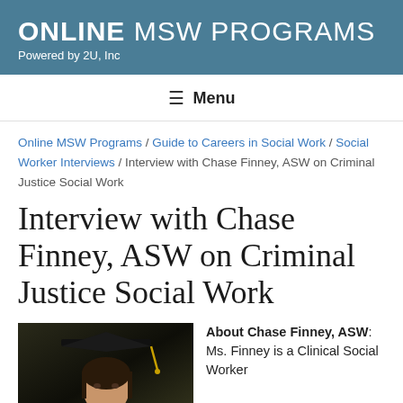ONLINE MSW PROGRAMS
Powered by 2U, Inc
Menu
Online MSW Programs / Guide to Careers in Social Work / Social Worker Interviews / Interview with Chase Finney, ASW on Criminal Justice Social Work
Interview with Chase Finney, ASW on Criminal Justice Social Work
[Figure (photo): Photo of Chase Finney wearing a graduation cap and gown]
About Chase Finney, ASW: Ms. Finney is a Clinical Social Worker